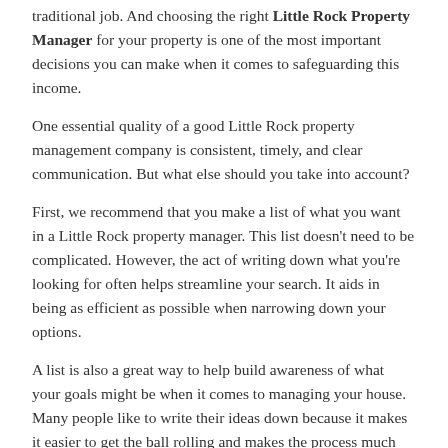traditional job. And choosing the right Little Rock Property Manager for your property is one of the most important decisions you can make when it comes to safeguarding this income.
One essential quality of a good Little Rock property management company is consistent, timely, and clear communication. But what else should you take into account?
First, we recommend that you make a list of what you want in a Little Rock property manager. This list doesn't need to be complicated. However, the act of writing down what you're looking for often helps streamline your search. It aids in being as efficient as possible when narrowing down your options.
A list is also a great way to help build awareness of what your goals might be when it comes to managing your house. Many people like to write their ideas down because it makes it easier to get the ball rolling and makes the process much less daunting.
Here is our list to get you started: